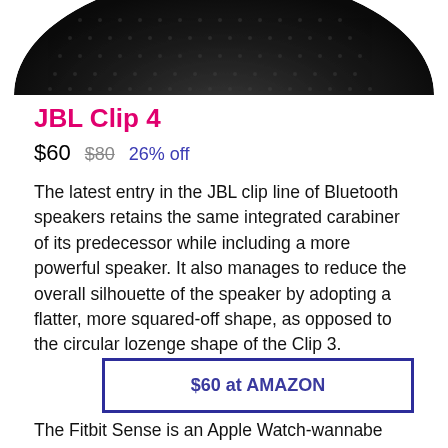[Figure (photo): Bottom portion of a black JBL Clip 4 Bluetooth speaker, showing curved dark mesh texture, cropped at top]
JBL Clip 4
$60   $80   26% off
The latest entry in the JBL clip line of Bluetooth speakers retains the same integrated carabiner of its predecessor while including a more powerful speaker. It also manages to reduce the overall silhouette of the speaker by adopting a flatter, more squared-off shape, as opposed to the circular lozenge shape of the Clip 3.
$60 at AMAZON
The Fitbit Sense is an Apple Watch-wannabe that you can get at Amazon and Best Buy for just $200 ($100 off). While The Verge's review from Brent